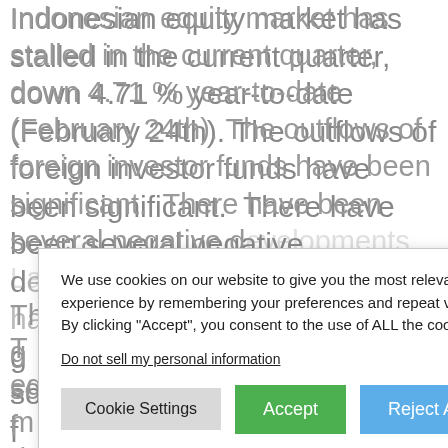Indonesian equity market has stalled in the current quarter, down 4.71 % year-to-date (February 24th). The outflows of foreign investor funds have been significant.  There have been several negative developments. Labour unrest has increased. The government's... investors led some funds... and Japan to pull... continuing concerns... the central bank... cutting interest rates policy.
[Figure (screenshot): Cookie consent modal dialog overlaying the text. Contains message about cookie usage, a 'Do not sell my personal information' link, and three buttons: 'Cookie Settings' (gray), 'Accept' (green), and 'Reject All' (blue).]
The... by equity-markets... demanding valuations that resulted from last year's dramatic outperformance. In 2011 the Indonesian market was one of the very few national markets offering